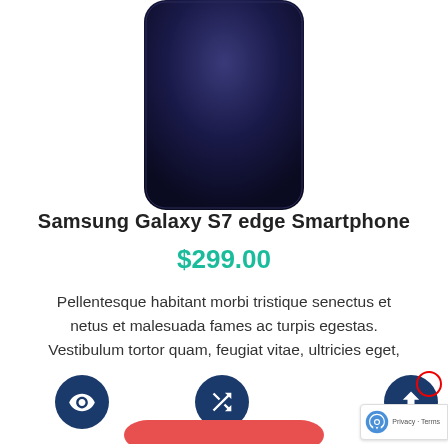[Figure (photo): Samsung Galaxy S7 edge smartphone shown from behind, dark navy/black color, partially cropped at top]
Samsung Galaxy S7 edge Smartphone
$299.00
Pellentesque habitant morbi tristique senectus et netus et malesuada fames ac turpis egestas. Vestibulum tortor quam, feugiat vitae, ultricies eget,
[Figure (infographic): Three dark navy circular icon buttons: eye/view icon, shuffle/compare icon, and share/upload icon with red ring indicator. reCAPTCHA badge visible at bottom right.]